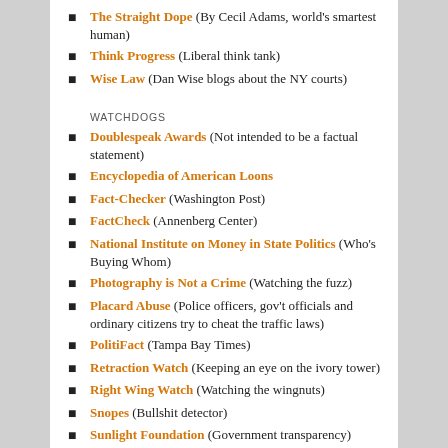The Straight Dope (By Cecil Adams, world's smartest human)
Think Progress (Liberal think tank)
Wise Law (Dan Wise blogs about the NY courts)
WATCHDOGS
Doublespeak Awards (Not intended to be a factual statement)
Encyclopedia of American Loons
Fact-Checker (Washington Post)
FactCheck (Annenberg Center)
National Institute on Money in State Politics (Who's Buying Whom)
Photography is Not a Crime (Watching the fuzz)
Placard Abuse (Police officers, gov't officials and ordinary citizens try to cheat the traffic laws)
PolitiFact (Tampa Bay Times)
Retraction Watch (Keeping an eye on the ivory tower)
Right Wing Watch (Watching the wingnuts)
Snopes (Bullshit detector)
Sunlight Foundation (Government transparency)